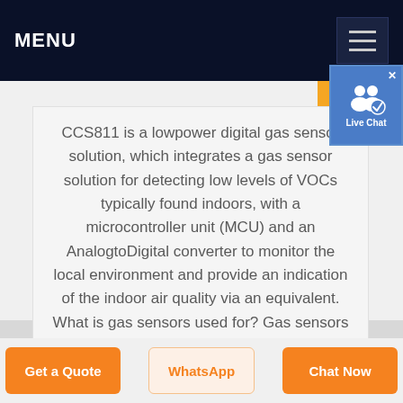MENU
[Figure (screenshot): Live Chat widget button with two person icons and a checkmark badge, blue background]
CCS811 is a lowpower digital gas sensor solution, which integrates a gas sensor solution for detecting low levels of VOCs typically found indoors, with a microcontroller unit (MCU) and an AnalogtoDigital converter to monitor the local environment and provide an indication of the indoor air quality via an equivalent. What is gas sensors used for? Gas sensors are devices used to measure the ...
Get a Quote
WhatsApp
Chat Now